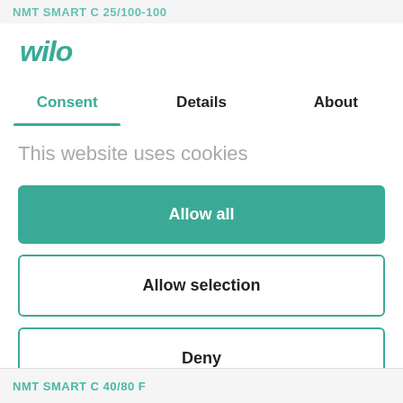NMT SMART C 25/100-100
[Figure (logo): Wilo brand logo in teal italic bold text]
Consent | Details | About
This website uses cookies
Allow all
Allow selection
Deny
Powered by Cookiebot by Usercentrics
NMT SMART C 40/80 F